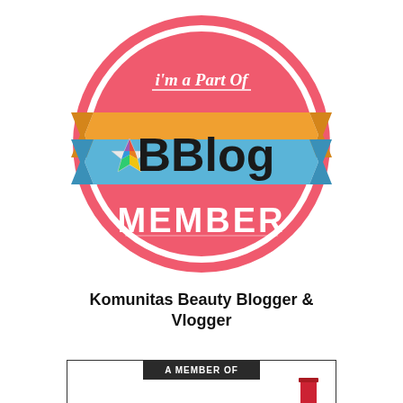[Figure (logo): BBlog membership badge — a round coral/salmon-colored badge with white border ring, text 'i'm a Part Of' at top in white script, an orange ribbon banner behind a blue ribbon banner spelling 'BBlog' with a colorful star icon to the left, and 'MEMBER' in distressed white block letters at bottom.]
Komunitas Beauty Blogger & Vlogger
[Figure (other): Partial bottom banner with black header reading 'A MEMBER OF' and partially visible content below including a red lipstick graphic.]